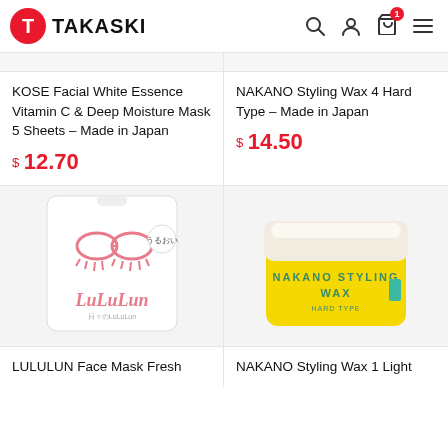TAKASKI
KOSE Facial White Essence Vitamin C & Deep Moisture Mask 5 Sheets – Made in Japan
$ 12.70
NAKANO Styling Wax 4 Hard Type – Made in Japan
$ 14.50
[Figure (photo): LuLuLun Face Mask product packaging - white pouch with pink eyelash graphics]
[Figure (photo): NAKANO Styling Wax jar - yellow container with white lid]
LULULUN Face Mask Fresh
NAKANO Styling Wax 1 Light